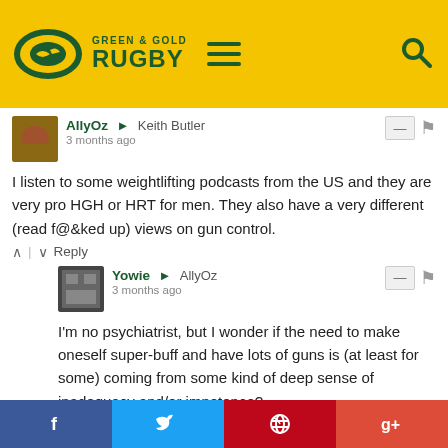Green & Gold Rugby
AllyOz → Keith Butler
3 months ago
I listen to some weightlifting podcasts from the US and they are very pro HGH or HRT for men. They also have a very different (read f@&ked up) views on gun control.
Reply
Yowie → AllyOz
3 months ago
I'm no psychiatrist, but I wonder if the need to make oneself super-buff and have lots of guns is (at least for some) coming from some kind of deep sense of inadequacy and/or impotence?
1 Reply
GeorgiaSatellite → Yowie